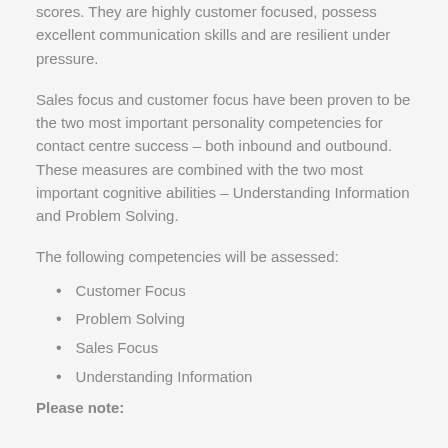scores. They are highly customer focused, possess excellent communication skills and are resilient under pressure.
Sales focus and customer focus have been proven to be the two most important personality competencies for contact centre success – both inbound and outbound. These measures are combined with the two most important cognitive abilities – Understanding Information and Problem Solving.
The following competencies will be assessed:
Customer Focus
Problem Solving
Sales Focus
Understanding Information
Please note: